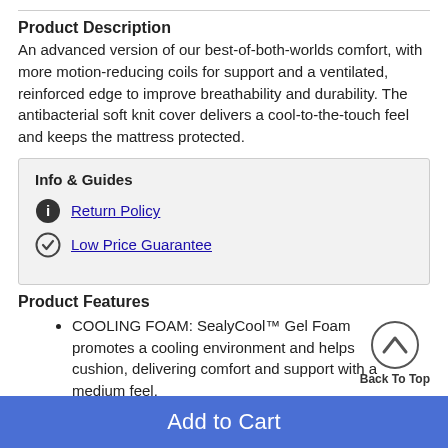Product Description
An advanced version of our best-of-both-worlds comfort, with more motion-reducing coils for support and a ventilated, reinforced edge to improve breathability and durability. The antibacterial soft knit cover delivers a cool-to-the-touch feel and keeps the mattress protected.
Info & Guides
Return Policy
Low Price Guarantee
Product Features
COOLING FOAM: SealyCool™ Gel Foam promotes a cooling environment and helps cushion, delivering comfort and support with a medium feel.
Add to Cart